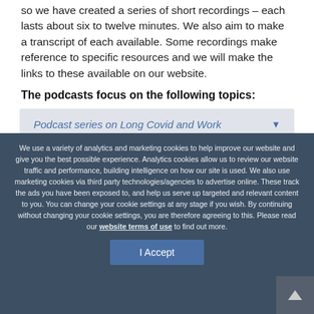so we have created a series of short recordings – each lasts about six to twelve minutes. We also aim to make a transcript of each available. Some recordings make reference to specific resources and we will make the links to these available on our website.
The podcasts focus on the following topics:
Podcast series on Long Covid and Work
We use a variety of analytics and marketing cookies to help improve our website and give you the best possible experience. Analytics cookies allow us to review our website traffic and performance, building intelligence on how our site is used. We also use marketing cookies via third party technologies/agencies to advertise online. These track the ads you have been exposed to, and help us serve up targeted and relevant content to you. You can change your cookie settings at any stage if you wish. By continuing without changing your cookie settings, you are therefore agreeing to this. Please read our website terms of use to find out more.
I Accept